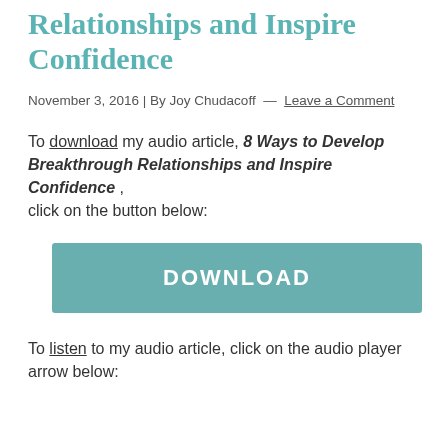Relationships and Inspire Confidence
November 3, 2016 | By Joy Chudacoff  —  Leave a Comment
To download my audio article, 8 Ways to Develop Breakthrough Relationships and Inspire Confidence , click on the button below:
[Figure (other): Teal/green download button with text DOWNLOAD]
To listen to my audio article, click on the audio player arrow below: